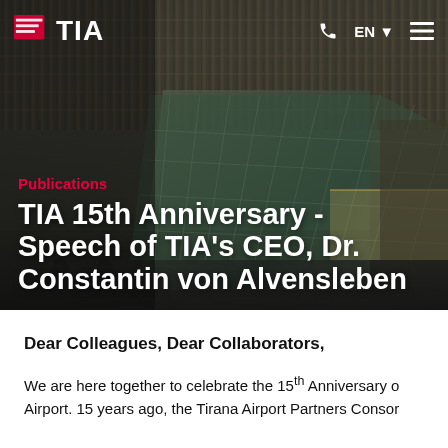[Figure (photo): Aerial/ground-level photograph of Tirana International Airport building exterior with modern glass facade and large canopy, used as hero banner background]
TIA | EN | navigation menu
Publications
TIA 15th Anniversary - Speech of TIA's CEO, Dr. Constantin von Alvensleben
Dear Colleagues, Dear Collaborators,
We are here together to celebrate the 15th Anniversary o Airport. 15 years ago, the Tirana Airport Partners Consor